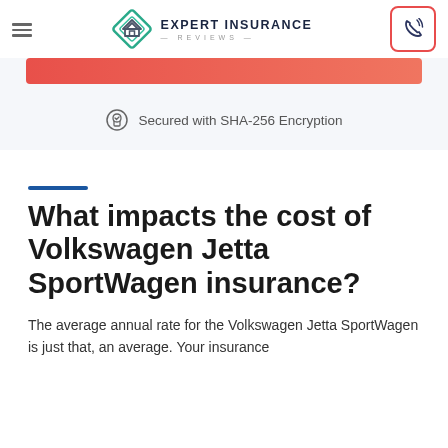EXPERT INSURANCE REVIEWS
[Figure (logo): Expert Insurance Reviews logo with diamond-shaped house icon and text]
[Figure (other): Red/coral colored call-to-action button bar]
Secured with SHA-256 Encryption
What impacts the cost of Volkswagen Jetta SportWagen insurance?
The average annual rate for the Volkswagen Jetta SportWagen is just that, an average. Your insurance